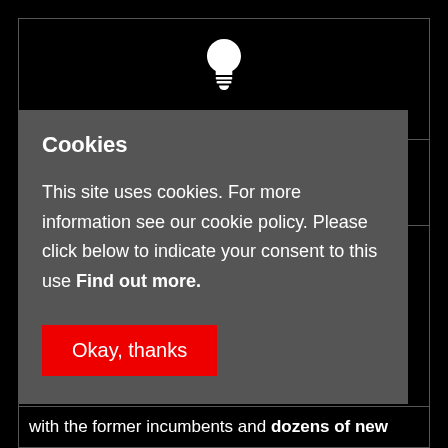[Figure (illustration): Light bulb icon in white on black background]
With over 900 TWh of annual electricity
consuming
f rapid
ange.
alising -
3. Nearly
petitive
Cookies
This site uses cookies. For more information see our cookie policy. Please click below to indicate your consent to this use Find out more.
Okay, thanks
with the former incumbents and dozens of new